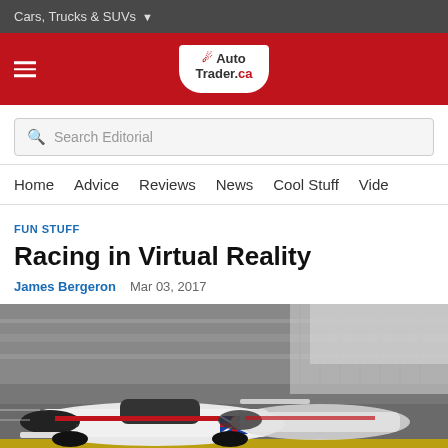Cars, Trucks & SUVs
[Figure (logo): AutoTrader.ca logo on red navigation bar with hamburger menu]
Search Editorial
Home   Advice   Reviews   News   Cool Stuff   Vide
FUN STUFF
Racing in Virtual Reality
James Bergeron   Mar 03, 2017
[Figure (photo): Racing car (formula/prototype style with Union Jack livery) on a track, motion-blurred background]